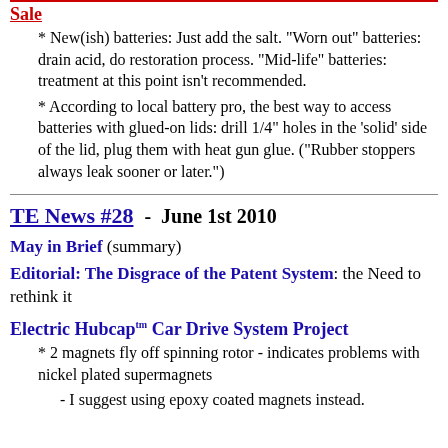Sale
* New(ish) batteries: Just add the salt. "Worn out" batteries: drain acid, do restoration process. "Mid-life" batteries: treatment at this point isn't recommended.
* According to local battery pro, the best way to access batteries with glued-on lids: drill 1/4" holes in the 'solid' side of the lid, plug them with heat gun glue. ("Rubber stoppers always leak sooner or later.")
TE News #28  -  June 1st 2010
May in Brief (summary)
Editorial: The Disgrace of the Patent System: the Need to rethink it
Electric Hubcapᵗᵐ Car Drive System Project
* 2 magnets fly off spinning rotor - indicates problems with nickel plated supermagnets
- I suggest using epoxy coated magnets instead.